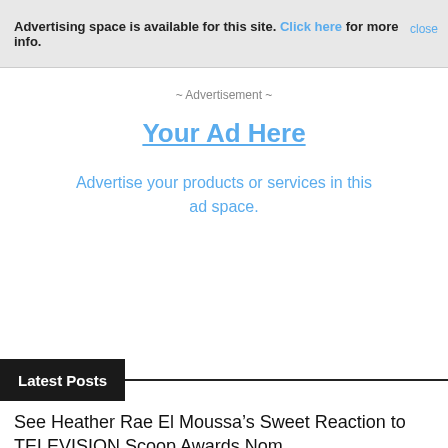Advertising space is available for this site. Click here for more info. close
~ Advertisement ~
Your Ad Here
Advertise your products or services in this ad space.
Latest Posts
See Heather Rae El Moussa’s Sweet Reaction to TELEVISION Scoop Awards Nom